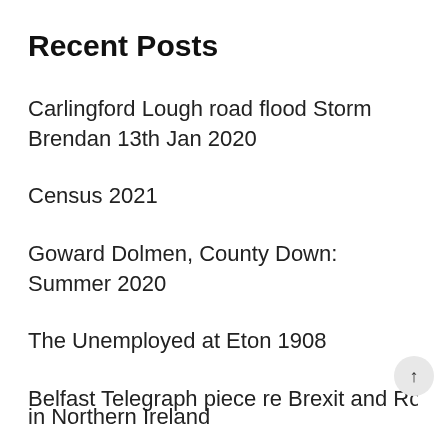Recent Posts
Carlingford Lough road flood Storm Brendan 13th Jan 2020
Census 2021
Goward Dolmen, County Down: Summer 2020
The Unemployed at Eton 1908
Belfast Telegraph piece re Brexit and Ro... in Northern Ireland